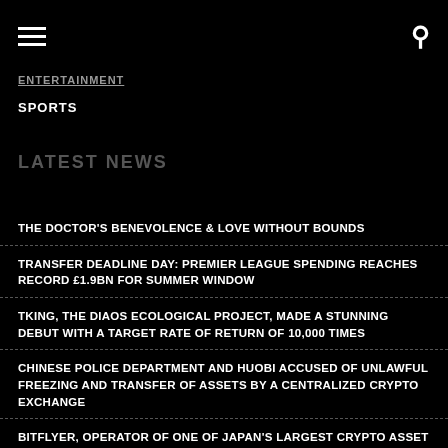ENTERTAINMENT
SPORTS
LATEST NEWS
THE DOCTOR'S BENEVOLENCE & LOVE WITHOUT BOUNDS
TRANSFER DEADLINE DAY: PREMIER LEAGUE SPENDING REACHES RECORD £1.9BN FOR SUMMER WINDOW
TKING, THE DIAOS ECOLOGICAL PROJECT, MADE A STUNNING DEBUT WITH A TARGET RATE OF RETURN OF 10,000 TIMES
CHINESE POLICE DEPARTMENT AND HUOBI ACCUSED OF UNLAWFUL FREEZING AND TRANSFER OF ASSETS BY A CENTRALIZED CRYPTO EXCHANGE
BITFLYER, OPERATOR OF ONE OF JAPAN'S LARGEST CRYPTO ASSET EXCHANGES, AND MONEYBUTTON, INC., ARE IN THE FIRST PART OF...